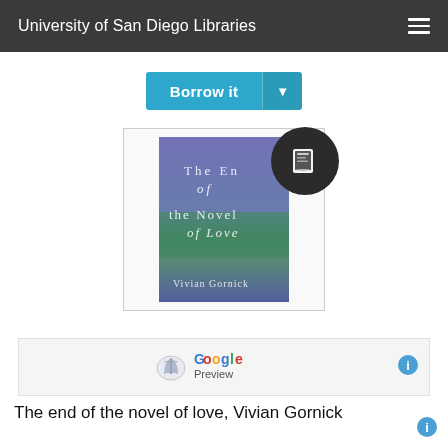University of San Diego Libraries
[Figure (screenshot): Borrow it button with dropdown arrow, teal/blue color]
[Figure (illustration): Book cover of 'The End of the Novel of Love' by Vivian Gornick, with a dark book icon overlay circle]
[Figure (logo): Google Preview button with open book icon]
The end of the novel of love, Vivian Gornick